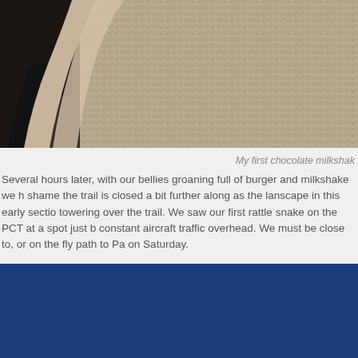[Figure (photo): Close-up photo of a textured tan/beige surface, possibly a leather or vinyl seat, with a dark area visible in the upper left corner. The surface has a fine pebbled texture.]
My first chocolate milkshak
Several hours later, with our bellies groaning full of burger and milkshake we h shame the trail is closed a bit further along as the lanscape in this early sectio towering over the trail. We saw our first rattle snake on the PCT at a spot just b constant aircraft traffic overhead. We must be close to, or on the fly path to Pa on Saturday.
[Figure (photo): Solid dark navy/royal blue block at the bottom of the page.]